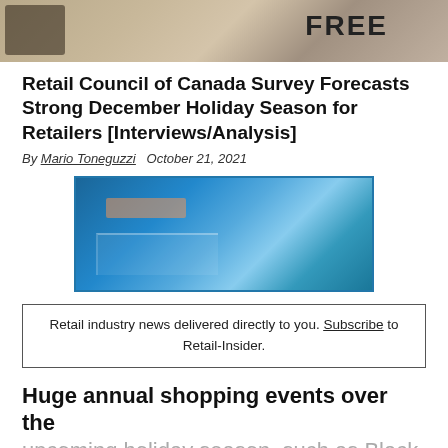[Figure (photo): Header image showing a 'FREE' label or newspaper with decorative background, partial top of page]
Retail Council of Canada Survey Forecasts Strong December Holiday Season for Retailers [Interviews/Analysis]
By Mario Toneguzzi   October 21, 2021
[Figure (photo): Blue banner/logo image for Retail Insider media]
Retail industry news delivered directly to you. Subscribe to Retail-Insider.
Huge annual shopping events over the
upcoming holiday season, such as Black Friday, Cyber Monday and Boxing Day, are expected to